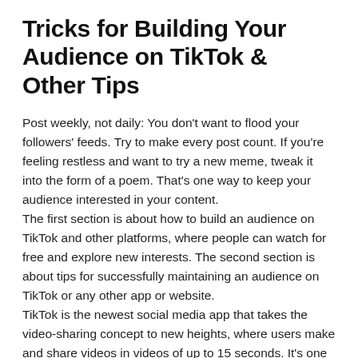Tricks for Building Your Audience on TikTok & Other Tips
Post weekly, not daily: You don't want to flood your followers' feeds. Try to make every post count. If you're feeling restless and want to try a new meme, tweak it into the form of a poem. That's one way to keep your audience interested in your content.
The first section is about how to build an audience on TikTok and other platforms, where people can watch for free and explore new interests. The second section is about tips for successfully maintaining an audience on TikTok or any other app or website.
TikTok is the newest social media app that takes the video-sharing concept to new heights, where users make and share videos in videos of up to 15 seconds. It's one of the best platforms for sharing and building a base of followers.